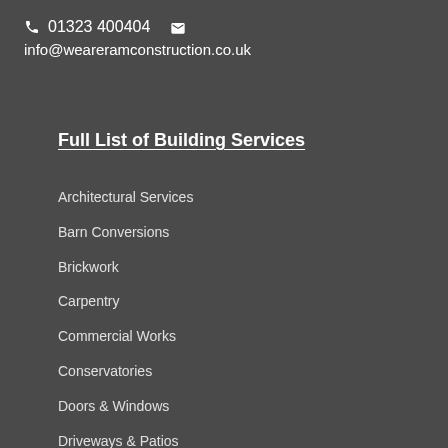📞 01323 400404  ✉  info@weareramconstruction.co.uk
Full List of Building Services
Architectural Services
Barn Conversions
Brickwork
Carpentry
Commercial Works
Conservatories
Doors & Windows
Driveways & Patios
Extensions